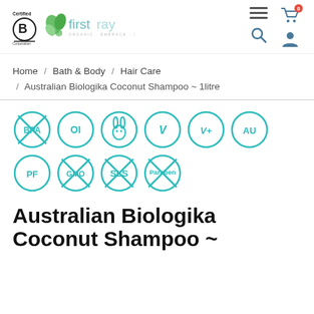[Figure (logo): Certified B Corporation logo and Firstray Organic Embrace Sustainable logo in header]
Home / Bath & Body / Hair Care / Australian Biologika Coconut Shampoo ~ 1litre
[Figure (infographic): Row of circular certification badges: BPA free, OI, cruelty-free (rabbit), V, V+, AU, PF, GMO free, SLS free, Paraben free]
Australian Biologika Coconut Shampoo ~